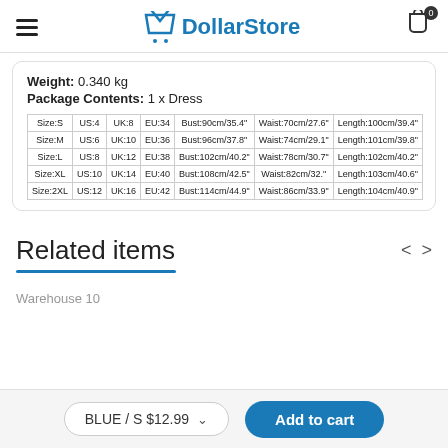DollarStore
Weight: 0.340 kg
Package Contents: 1 x Dress
| Size:S | US:4 | UK:8 | EU:34 | Bust:90cm/35.4" | Waist:70cm/27.6" | Length:100cm/39.4" |
| --- | --- | --- | --- | --- | --- | --- |
| Size:M | US:6 | UK:10 | EU:36 | Bust:96cm/37.8" | Waist:74cm/29.1" | Length:101cm/39.8" |
| Size:L | US:8 | UK:12 | EU:38 | Bust:102cm/40.2" | Waist:78cm/30.7" | Length:102cm/40.2" |
| Size:XL | US:10 | UK:14 | EU:40 | Bust:108cm/42.5" | Waist:82cm/32." | Length:103cm/40.6" |
| Size:2XL | US:12 | UK:16 | EU:42 | Bust:114cm/44.9" | Waist:86cm/33.9" | Length:104cm/40.9" |
Related items
Warehouse 10
BLUE / S $12.99
Add to cart